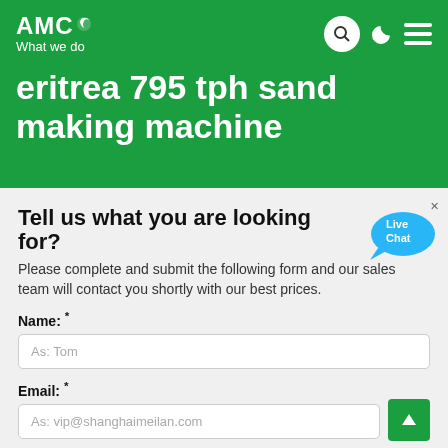AMC — What we do
eritrea 795 tph sand making machine
Tell us what you are looking for?
Please complete and submit the following form and our sales team will contact you shortly with our best prices.
Name: *
As: Tom
Email: *
As: vip@shanghaimeilan.com
Phone: *
With Country Code